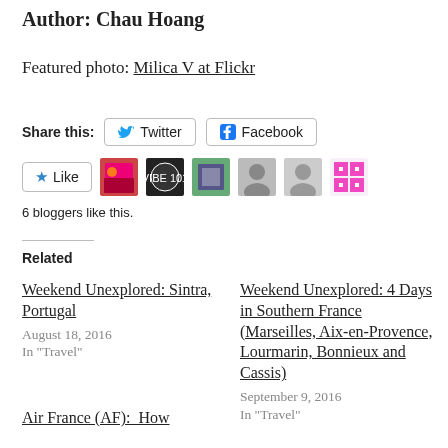Author: Chau Hoang
Featured photo: Milica V at Flickr
Share this: Twitter Facebook
[Figure (other): Like button with star icon followed by 6 blogger avatar thumbnails]
6 bloggers like this.
Related
Weekend Unexplored: Sintra, Portugal
August 18, 2016
In "Travel"
Weekend Unexplored: 4 Days in Southern France (Marseilles, Aix-en-Provence, Lourmarin, Bonnieux and Cassis)
September 9, 2016
In "Travel"
Air France (AF):  How